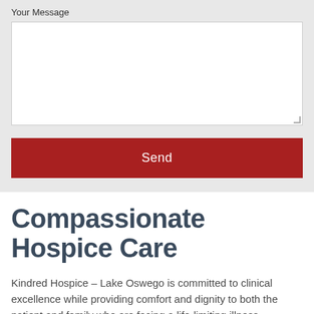Your Message
[Figure (screenshot): Empty white text area input box with resize handle in bottom right corner]
Send
Compassionate Hospice Care
Kindred Hospice – Lake Oswego is committed to clinical excellence while providing comfort and dignity to both the patient and family who are facing a life-limiting illness.
We are here 24/7/365